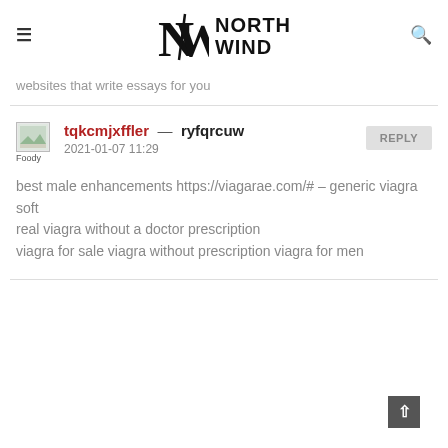NORTH WIND
websites that write essays for you
tqkcmjxffler — ryfqrcuw
2021-01-07 11:29

best male enhancements https://viagarae.com/# – generic viagra soft
real viagra without a doctor prescription
viagra for sale viagra without prescription viagra for men